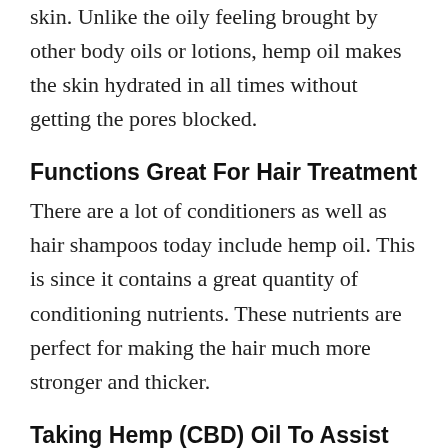skin. Unlike the oily feeling brought by other body oils or lotions, hemp oil makes the skin hydrated in all times without getting the pores blocked.
Functions Great For Hair Treatment
There are a lot of conditioners as well as hair shampoos today include hemp oil. This is since it contains a great quantity of conditioning nutrients. These nutrients are perfect for making the hair much more stronger and thicker.
Taking Hemp (CBD) Oil To Assist Arthritis
This alternate compound is hemp oil. Taking a quality Hemp Oil has the same effect for your body as putting oil in your cars engine– it lubes the system. Hemp is unique since it's packed with a well balanced account of Omega 3, 6 & 9 fats to match the body's demands. It likewise